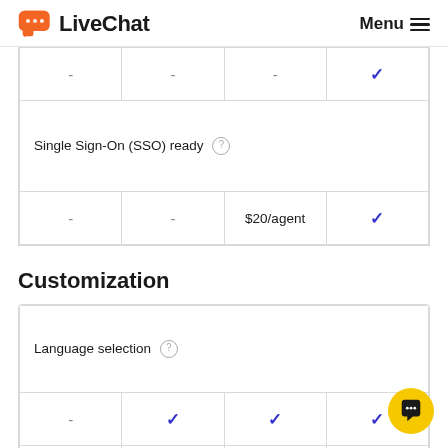LiveChat | Menu
| Feature | Col1 | Col2 | Col3 | Col4 |
| --- | --- | --- | --- | --- |
| - | - | - | ✓ |
| Single Sign-On (SSO) ready |  |  |  |
| - | - | $20/agent | ✓ |
Customization
| Feature | Col1 | Col2 | Col3 | Col4 |
| --- | --- | --- | --- | --- |
| Language selection |  |  |  |
| - | ✓ | ✓ | ✓ |